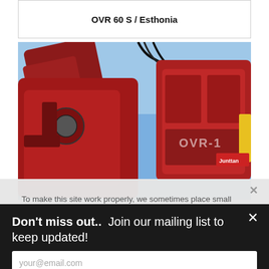OVR 60 S / Esthonia
[Figure (photo): Industrial heavy machinery - a red hydraulic attachment/vibro hammer (branded OVR) mounted on a crane arm, photographed against a blue sky background. The equipment appears to be a pile driver or vibratory hammer used in construction.]
To make this site work properly, we sometimes place small data files called cookies on your device. Most big websites do
Don't miss out..  Join our mailing list to keep updated!